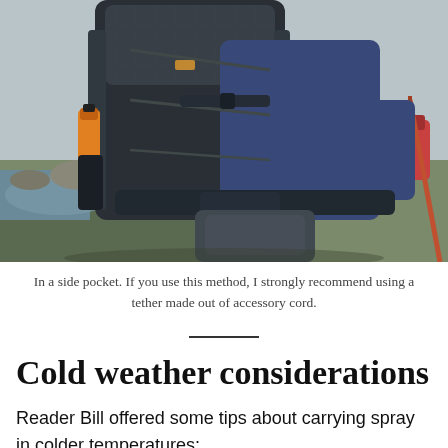[Figure (photo): A hiker wearing a dark blue long-sleeve shirt with a large black backpack, carrying a water bottle in the side pocket. Another person and rocky/grassy terrain visible in the background.]
In a side pocket. If you use this method, I strongly recommend using a tether made out of accessory cord.
Cold weather considerations
Reader Bill offered some tips about carrying spray in colder temperatures: